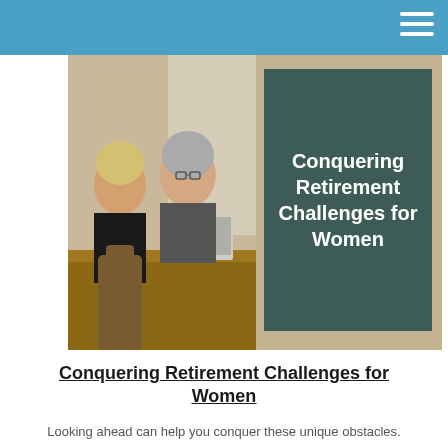[Figure (photo): Two women in an office setting, one younger with short blonde hair wearing a black jacket, one older with grey hair and glasses working at a desk with a laptop. Right side shows a dark teal/green box overlay with the text 'Conquering Retirement Challenges for Women' in bold white.]
Conquering Retirement Challenges for Women
Looking ahead can help you conquer these unique obstacles.
[Figure (photo): Close-up of a smartphone resting on a beige/khaki bag or jacket, showing a dark screen. A red book or wallet is partially visible underneath.]